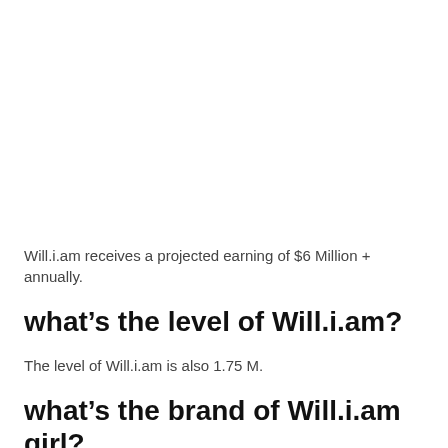Will.i.am receives a projected earning of $6 Million + annually.
what’s the level of Will.i.am?
The level of Will.i.am is also 1.75 M.
what’s the brand of Will.i.am girl?